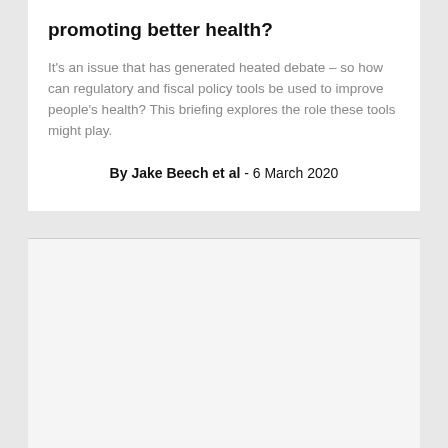promoting better health?
It's an issue that has generated heated debate – so how can regulatory and fiscal policy tools be used to improve people's health? This briefing explores the role these tools might play.
By Jake Beech et al - 6 March 2020